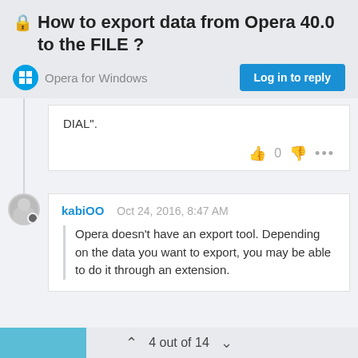🔒How to export data from Opera 40.0 to the FILE ?
Opera for Windows
Log in to reply
DIAL".
0
kabiOO
Oct 24, 2016, 8:47 AM
Opera doesn't have an export tool. Depending on the data you want to export, you may be able to do it through an extension.
4 out of 14